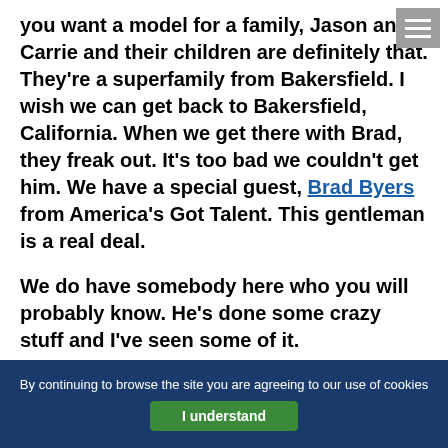you want a model for a family, Jason and Carrie and their children are definitely that. They're a superfamily from Bakersfield. I wish we can get back to Bakersfield, California. When we get there with Brad, they freak out. It's too bad we couldn't get him. We have a special guest, Brad Byers from America's Got Talent. This gentleman is a real deal.
We do have somebody here who you will probably know. He's done some crazy stuff and I've seen some of it.
Most of our audience is going to know who he is. When we first met this guy, he blew us away. I was thinking, "Is this an illusion? Was he born with something wrong? What is it? We can't figure him
By continuing to browse the site you are agreeing to our use of cookies  I understand